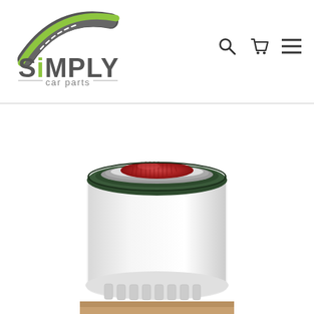[Figure (logo): Simply Car Parts logo with green arc road graphic and grey road text, 'SiMPLY car parts']
[Figure (photo): Cylindrical automotive air filter element with white plastic housing, dark green rubber seal ring on top, and red pleated filter media visible from above. Bottom shows white plastic end cap with fins.]